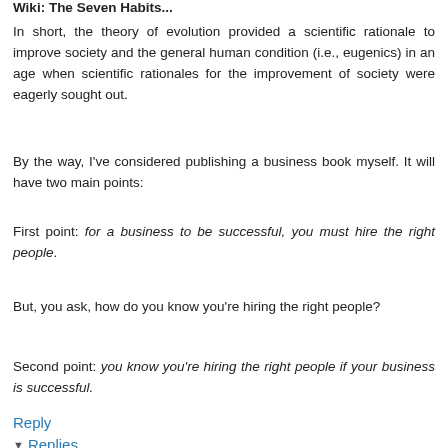Wiki: The Seven Habits...
In short, the theory of evolution provided a scientific rationale to improve society and the general human condition (i.e., eugenics) in an age when scientific rationales for the improvement of society were eagerly sought out.
By the way, I've considered publishing a business book myself. It will have two main points:
First point: for a business to be successful, you must hire the right people.
But, you ask, how do you know you're hiring the right people?
Second point: you know you're hiring the right people if your business is successful.
Reply
Replies